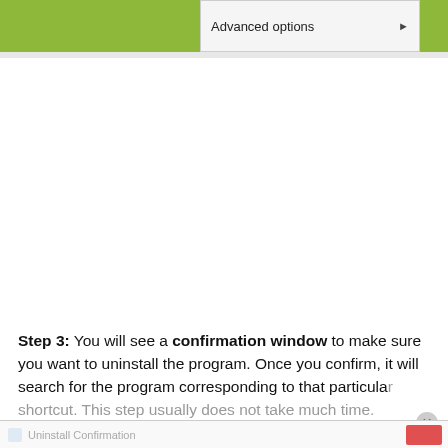[Figure (screenshot): Screenshot showing a context menu with 'Advanced options' item and a right-pointing arrow, flanked by green bars on left and right]
Step 3: You will see a confirmation window to make sure you want to uninstall the program. Once you confirm, it will search for the program corresponding to that particular shortcut. This step usually does not take much time.
[Figure (screenshot): Bottom of screen showing partial Uninstall Confirmation dialog bar with a red button on the right]